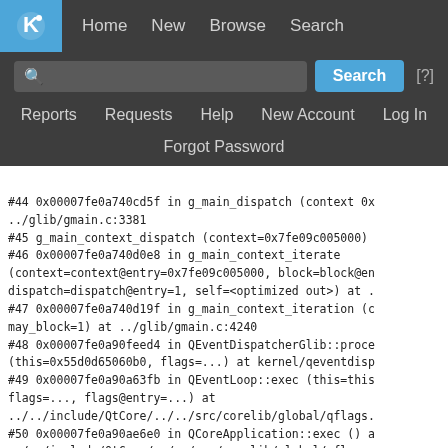[Figure (screenshot): KDE website navigation bar with logo, Home/New/Browse/Search links, search input box, Search button, [?] help link, Reports/Requests/Help/New Account/Log In links, and Forgot Password link]
#44 0x00007fe0a740cd5f in g_main_dispatch (context 0x../glib/gmain.c:3381
#45 g_main_context_dispatch (context=0x7fe09c005000)
#46 0x00007fe0a740d0e8 in g_main_context_iterate
(context=context@entry=0x7fe09c005000, block=block@en
dispatch=dispatch@entry=1, self=<optimized out>) at ..
#47 0x00007fe0a740d19f in g_main_context_iteration (c
may_block=1) at ../glib/gmain.c:4240
#48 0x00007fe0a90feed4 in QEventDispatcherGlib::proce
(this=0x55d0d65060b0, flags=...) at kernel/qeventdisp
#49 0x00007fe0a90a63fb in QEventLoop::exec (this=this
flags=..., flags@entry=...) at
../../include/QtCore/../../src/corelib/global/qflags.
#50 0x00007fe0a90ae6e0 in QCoreApplication::exec () a
../../include/QtCore/../../src/corelib/global/qflags.
#51 0x00007fe0a94f818c in QGuiApplication::exec () at
kernel/qguiapplication.cpp:1867
#52 0x00007fe0a9e409f5 in QApplication::exec () at ke